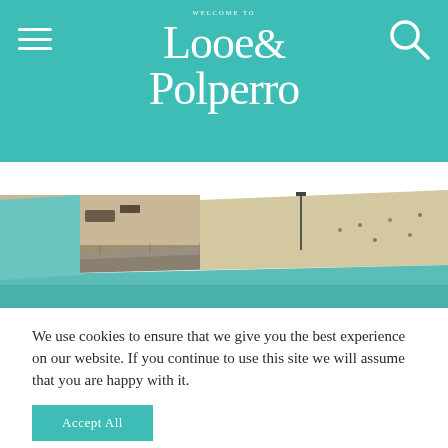WELCOME TO Looe & Polperro
[Figure (photo): Aerial view of Looe harbour and beach in Cornwall, showing turquoise water, a stone pier/breakwater, sandy beach with visitors, and the town with buildings climbing green wooded hillsides in the background.]
We use cookies to ensure that we give you the best experience on our website. If you continue to use this site we will assume that you are happy with it.
Accept All